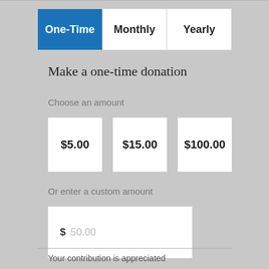One-Time | Monthly | Yearly
Make a one-time donation
Choose an amount
$5.00
$15.00
$100.00
Or enter a custom amount
$ 50.00
Your contribution is appreciated